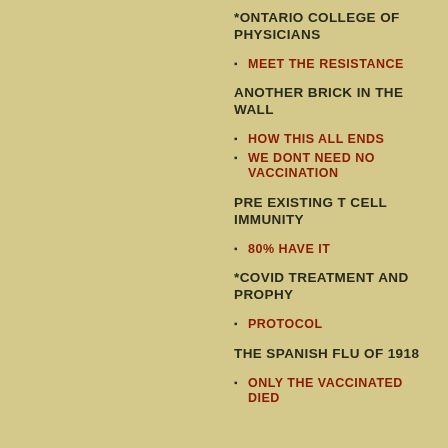*ONTARIO COLLEGE OF PHYSICIANS
MEET THE RESISTANCE
ANOTHER BRICK IN THE WALL
HOW THIS ALL ENDS
WE DONT NEED NO VACCINATION
PRE EXISTING T CELL IMMUNITY
80% HAVE IT
*COVID TREATMENT AND PROPHY
PROTOCOL
THE SPANISH FLU OF 1918
ONLY THE VACCINATED DIED